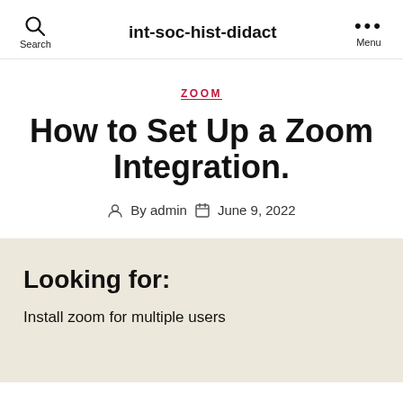int-soc-hist-didact | Search | Menu
ZOOM
How to Set Up a Zoom Integration.
By admin  June 9, 2022
Looking for:
Install zoom for multiple users